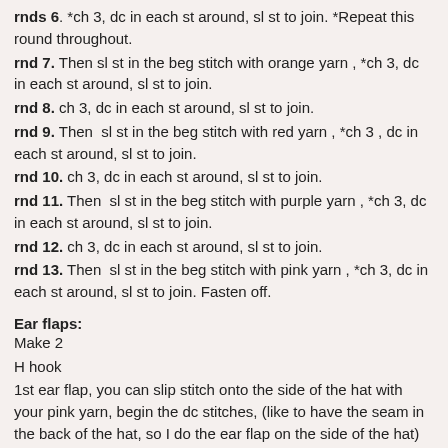rnds 6. *ch 3, dc in each st around, sl st to join. *Repeat this round throughout.
rnd 7. Then sl st in the beg stitch with orange yarn , *ch 3, dc in each st around, sl st to join.
rnd 8. ch 3, dc in each st around, sl st to join.
rnd 9. Then  sl st in the beg stitch with red yarn , *ch 3 , dc in each st around, sl st to join.
rnd 10. ch 3, dc in each st around, sl st to join.
rnd 11. Then  sl st in the beg stitch with purple yarn , *ch 3, dc in each st around, sl st to join.
rnd 12. ch 3, dc in each st around, sl st to join.
rnd 13. Then  sl st in the beg stitch with pink yarn , *ch 3, dc in each st around, sl st to join. Fasten off.
Ear flaps:
Make 2
H hook
1st ear flap, you can slip stitch onto the side of the hat with your pink yarn, begin the dc stitches, (like to have the seam in the back of the hat, so I do the ear flap on the side of the hat)
2nd flap, fold hat in half and sl st in dc directly across from the last dc from the other ear flap. follow directions below for both ear flaps.